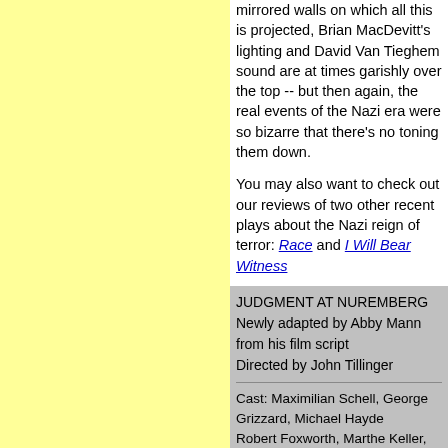mirrored walls on which all this is projected, Brian MacDevitt's lighting and David Van Tieghem sound are at times garishly over the top -- but then again, the real events of the Nazi era were so bizarre that there's no toning them down.
You may also want to check out our reviews of two other recent plays about the Nazi reign of terror: Race and I Will Bear Witness
JUDGMENT AT NUREMBERG
Newly adapted by Abby Mann from his film script
Directed by John Tillinger

Cast: Maximilian Schell, George Grizzard, Michael Hayden, Robert Foxworth, Marthe Keller, Joseph Wiseman, Michael Mastro, Fred Burrell, Patricia Conolly, Jack Davidson, Pete Hermann, Jurian Hughes, Peter Francis James, Ty Jones, Susan Kellermann, Peter Kybart, Philip Les Strange, Pete Maloney, Kellie Overbey, Heather Randall, Reno Roop, Henry Strozier.
Set Design:James Noone:
Projections: Elaine J. McCarthy
Lighting Design: Brian MacDevitt
Costume Design: Jess Goldstein
Original music and sound: David Van Tieghem
Running Time: 2 hours and 30 minutes, including intermission
Longacre, 220 W. 48th St., (Broadway/8th Av) 212/239-6200
From 2/15/01; opening 2/26/01